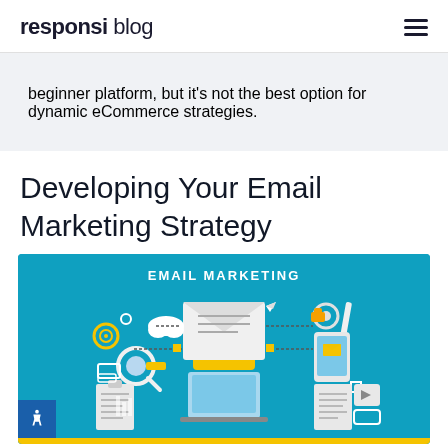responsi blog
beginner platform, but it's not the best option for dynamic eCommerce strategies.
Developing Your Email Marketing Strategy
[Figure (illustration): Email marketing infographic illustration on teal/blue background showing a large yellow envelope with a document, surrounded by icons: magnifying glass, cloud, smartphone with envelope, gear, pencil, paper airplane, clipboards, document stacks, and other digital marketing elements. Text at top reads EMAIL MARKETING.]